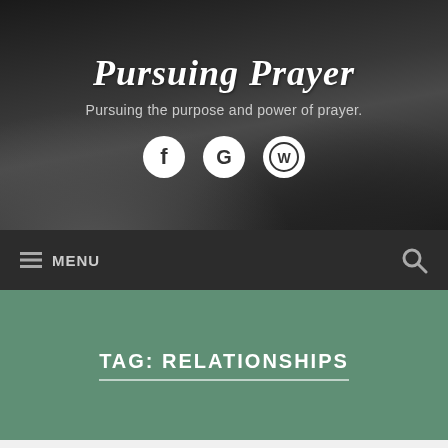Pursuing Prayer
Pursuing the purpose and power of prayer.
[Figure (logo): Social media icons: Facebook, Google, WordPress]
MENU
TAG: RELATIONSHIPS
Follow ...